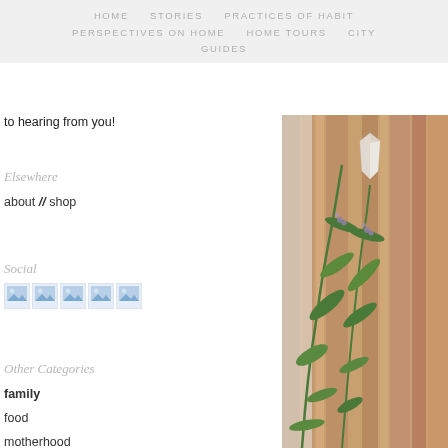HOME   STORIES   PRACTICES OF HABIT   PERSPECTIVES ON HOME   HOME TOURS   CITY   GUIDES
to hearing from you!
Elsewhere
about // shop
Social
[Figure (other): Row of 5 social media icon images]
Other Categories
family
food
motherhood
the occasional musing
quotes
recipes
[Figure (photo): Photo of green plant stems with small purple flowers leaning against a rustic wooden plank wall with a white quartz crystal point mounted on the wall above]